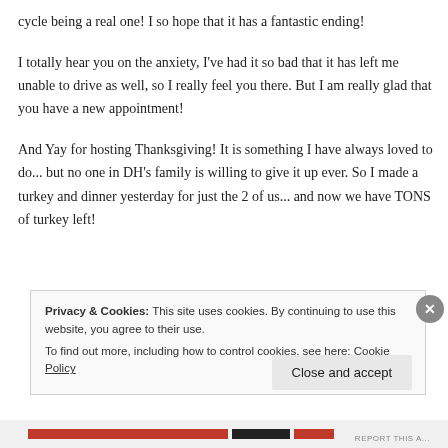cycle being a real one! I so hope that it has a fantastic ending!
I totally hear you on the anxiety, I've had it so bad that it has left me unable to drive as well, so I really feel you there. But I am really glad that you have a new appointment!
And Yay for hosting Thanksgiving! It is something I have always loved to do... but no one in DH's family is willing to give it up ever. So I made a turkey and dinner yesterday for just the 2 of us... and now we have TONS of turkey left!
Privacy & Cookies: This site uses cookies. By continuing to use this website, you agree to their use.
To find out more, including how to control cookies, see here: Cookie Policy
Close and accept